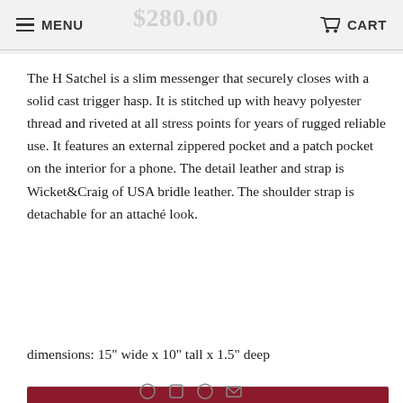MENU | CART
The H Satchel is a slim messenger that securely closes with a solid cast trigger hasp. It is stitched up with heavy polyester thread and riveted at all stress points for years of rugged reliable use. It features an external zippered pocket and a patch pocket on the interior for a phone. The detail leather and strap is Wicket&Craig of USA bridle leather. The shoulder strap is detachable for an attaché look.
dimensions: 15" wide x 10" tall x 1.5" deep